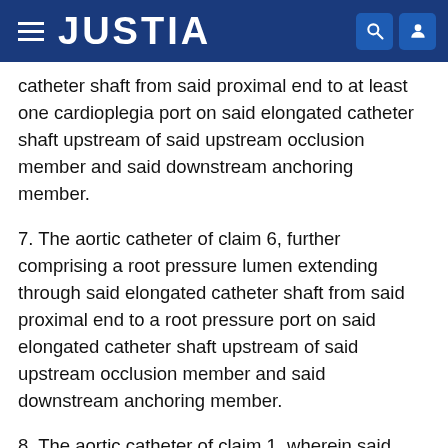JUSTIA
catheter shaft from said proximal end to at least one cardioplegia port on said elongated catheter shaft upstream of said upstream occlusion member and said downstream anchoring member.
7. The aortic catheter of claim 6, further comprising a root pressure lumen extending through said elongated catheter shaft from said proximal end to a root pressure port on said elongated catheter shaft upstream of said upstream occlusion member and said downstream anchoring member.
8. The aortic catheter of claim 1, wherein said upstream occlusion member is an expandable, inflatable balloon.
9. The aortic catheter of claim 8, further comprising a balloon inflation lumen extending through said elongated catheter shaft from said proximal end to a